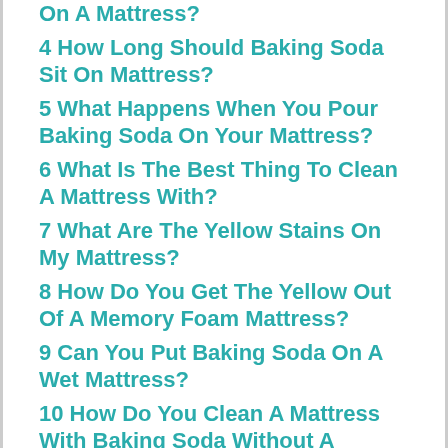On A Mattress?
4 How Long Should Baking Soda Sit On Mattress?
5 What Happens When You Pour Baking Soda On Your Mattress?
6 What Is The Best Thing To Clean A Mattress With?
7 What Are The Yellow Stains On My Mattress?
8 How Do You Get The Yellow Out Of A Memory Foam Mattress?
9 Can You Put Baking Soda On A Wet Mattress?
10 How Do You Clean A Mattress With Baking Soda Without A Vacuum?
11 Will Vacuuming Up Baking Soda Ruin My Vacuum?
12 How Much Baking Soda Do You Put In A Mattress?